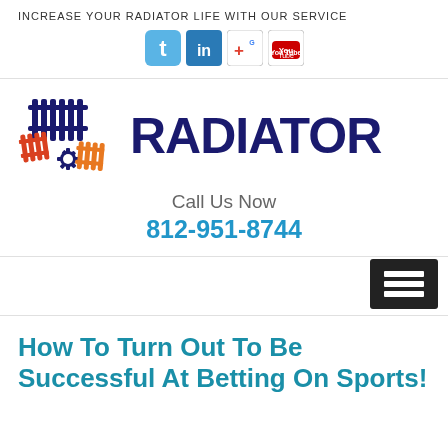INCREASE YOUR RADIATOR LIFE WITH OUR SERVICE
[Figure (logo): Social media icons: Twitter (bird), LinkedIn, Google+, YouTube]
[Figure (logo): Radiator service logo with radiator grid icon in dark blue, red, and orange, with text RADIATOR in dark navy bold font]
Call Us Now
812-951-8744
[Figure (other): Hamburger menu icon (three horizontal lines) on dark background]
How To Turn Out To Be Successful At Betting On Sports!